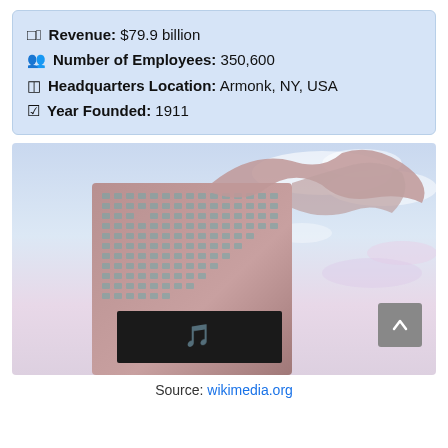Revenue: $79.9 billion
Number of Employees: 350,600
Headquarters Location: Armonk, NY, USA
Year Founded: 1911
[Figure (photo): Modern curved architectural skyscraper building with IBM-style logo on top and large digital display screen near middle, photographed against a pastel sky with wispy clouds at dusk]
Source: wikimedia.org